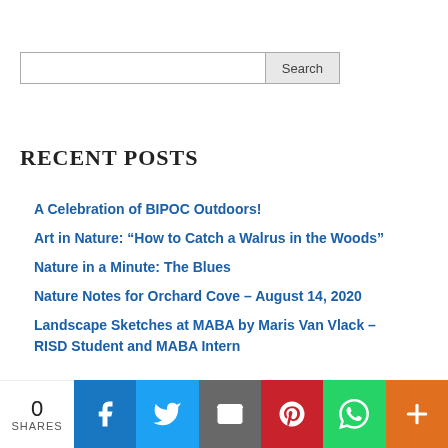Search
RECENT POSTS
A Celebration of BIPOC Outdoors!
Art in Nature: “How to Catch a Walrus in the Woods”
Nature in a Minute: The Blues
Nature Notes for Orchard Cove – August 14, 2020
Landscape Sketches at MABA by Maris Van Vlack – RISD Student and MABA Intern
0 SHARES